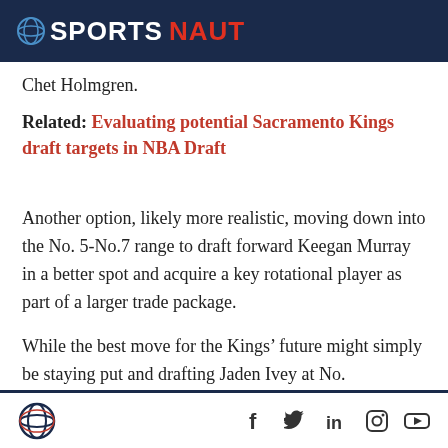SPORTSNAUT
Chet Holmgren.
Related: Evaluating potential Sacramento Kings draft targets in NBA Draft
Another option, likely more realistic, moving down into the No. 5-No.7 range to draft forward Keegan Murray in a better spot and acquire a key rotational player as part of a larger trade package.
While the best move for the Kings’ future might simply be staying put and drafting Jaden Ivey at No.
Sportsnaut logo and social icons: Facebook, Twitter, LinkedIn, Instagram, YouTube